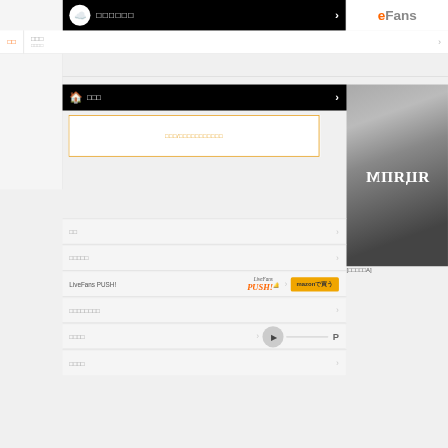[Figure (screenshot): Japanese website interface - LiveFans navigation with black banners, menu rows, orange bordered input box, LiveFans PUSH section, amazon buy button, and album image on right side]
ライブレポ
ニュース
セトリ
ホーム
ニックネームを入力してください
日程
セットリスト
LiveFans PUSH!
[□□□□□A]
アーティスト情報
□□□□
□□□□
mazonで買う
[Figure (photo): Black and white close-up photo of what appears to be a musical instrument or sleek object with Cyrillic-style text overlay reading ЯЦЯПМ]